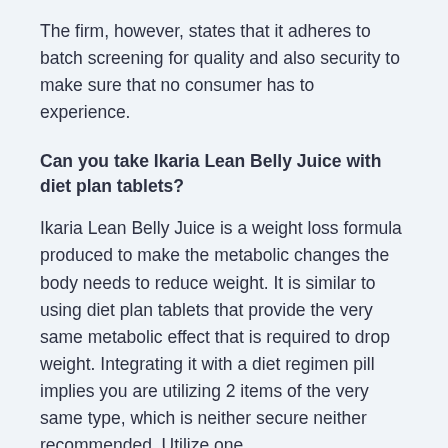The firm, however, states that it adheres to batch screening for quality and also security to make sure that no consumer has to experience.
Can you take Ikaria Lean Belly Juice with diet plan tablets?
Ikaria Lean Belly Juice is a weight loss formula produced to make the metabolic changes the body needs to reduce weight. It is similar to using diet plan tablets that provide the very same metabolic effect that is required to drop weight. Integrating it with a diet regimen pill implies you are utilizing 2 items of the very same type, which is neither secure neither recommended. Utilize one